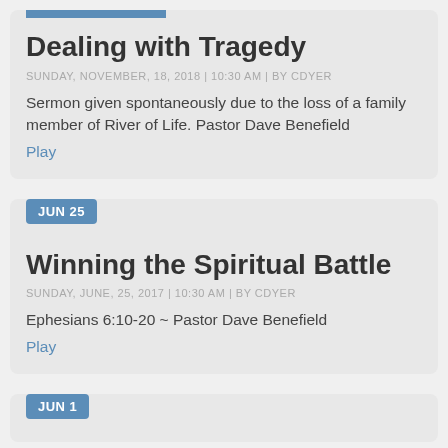Dealing with Tragedy
SUNDAY, NOVEMBER, 18, 2018 | 10:30 AM | BY CDYER
Sermon given spontaneously due to the loss of a family member of River of Life. Pastor Dave Benefield
Play
JUN 25
Winning the Spiritual Battle
SUNDAY, JUNE, 25, 2017 | 10:30 AM | BY CDYER
Ephesians 6:10-20 ~ Pastor Dave Benefield
Play